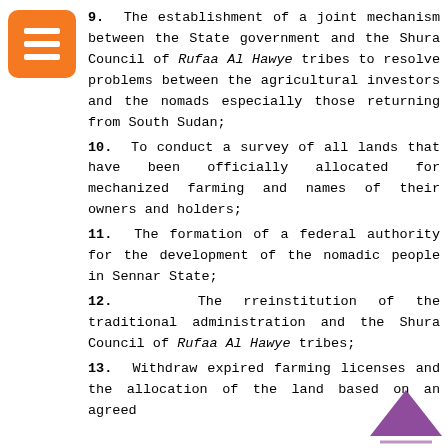9. The establishment of a joint mechanism between the State government and the Shura Council of Rufaa Al Hawye tribes to resolve problems between the agricultural investors and the nomads especially those returning from South Sudan;
10. To conduct a survey of all lands that have been officially allocated for mechanized farming and names of their owners and holders;
11. The formation of a federal authority for the development of the nomadic people in Sennar State;
12. The rreinstitution of the traditional administration and the Shura Council of Rufaa Al Hawye tribes;
13. Withdraw expired farming licenses and the allocation of the land based on an agreed